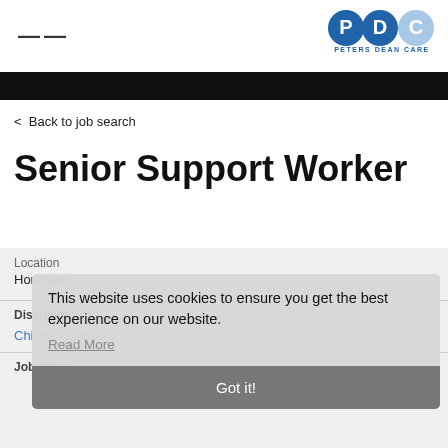PDC Peters Dean Care
< Back to job search
Senior Support Worker
Location
Horsham
Discipline:
Children Services
This website uses cookies to ensure you get the best experience on our website.
Read More
Got it!
Job type: